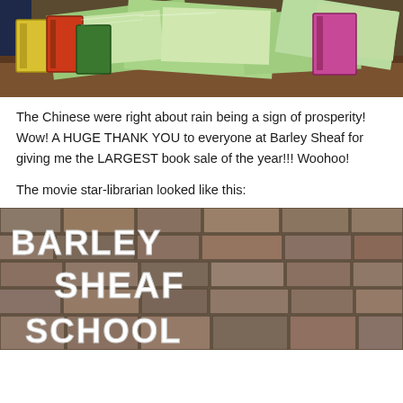[Figure (photo): Photo of a desk piled with books and green paper folders/files stacked in a messy pile, dark wooden desk surface, dark blue chair visible on left]
The Chinese were right about rain being a sign of prosperity! Wow! A HUGE THANK YOU to everyone at Barley Sheaf for giving me the LARGEST book sale of the year!!! Woohoo!
The movie star-librarian looked like this:
[Figure (photo): Photo of stone brick wall with large white 3D letters reading BARLEY SHEAF SCHOOL]